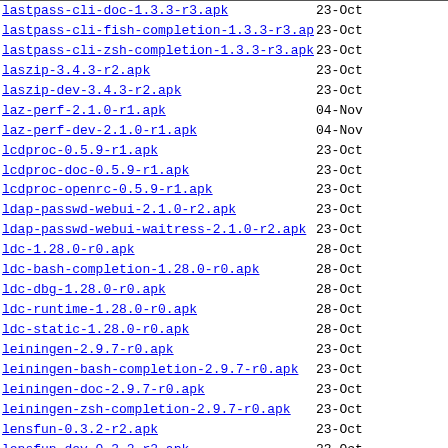| Name | Date |
| --- | --- |
| lastpass-cli-doc-1.3.3-r3.apk | 23-Oct |
| lastpass-cli-fish-completion-1.3.3-r3.apk | 23-Oct |
| lastpass-cli-zsh-completion-1.3.3-r3.apk | 23-Oct |
| laszip-3.4.3-r2.apk | 23-Oct |
| laszip-dev-3.4.3-r2.apk | 23-Oct |
| laz-perf-2.1.0-r1.apk | 04-Nov |
| laz-perf-dev-2.1.0-r1.apk | 04-Nov |
| lcdproc-0.5.9-r1.apk | 23-Oct |
| lcdproc-doc-0.5.9-r1.apk | 23-Oct |
| lcdproc-openrc-0.5.9-r1.apk | 23-Oct |
| ldap-passwd-webui-2.1.0-r2.apk | 23-Oct |
| ldap-passwd-webui-waitress-2.1.0-r2.apk | 23-Oct |
| ldc-1.28.0-r0.apk | 28-Oct |
| ldc-bash-completion-1.28.0-r0.apk | 28-Oct |
| ldc-dbg-1.28.0-r0.apk | 28-Oct |
| ldc-runtime-1.28.0-r0.apk | 28-Oct |
| ldc-static-1.28.0-r0.apk | 28-Oct |
| leiningen-2.9.7-r0.apk | 23-Oct |
| leiningen-bash-completion-2.9.7-r0.apk | 23-Oct |
| leiningen-doc-2.9.7-r0.apk | 23-Oct |
| leiningen-zsh-completion-2.9.7-r0.apk | 23-Oct |
| lensfun-0.3.2-r2.apk | 23-Oct |
| lensfun-dev-0.3.2-r2.apk | 23-Oct |
| leptonica-1.82.0-r0.apk | 23-Oct |
| leptonica-dev-1.82.0-r0.apk | 23-Oct |
| leptonica-doc-1.82.0-r0.apk | 23-Oct |
| lfs-1.3.0-r0.apk | 04-Nov |
| lha-1.14i-r3.apk | 23-Oct |
| lha-doc-1.14i-r3.apk | 23-Oct |
| lihabw-0.1.3-r0.apk | 23-Oct |